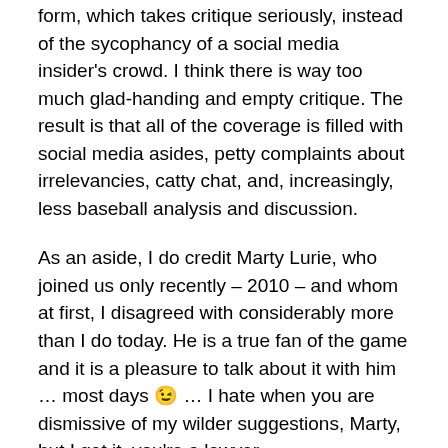form, which takes critique seriously, instead of the sycophancy of a social media insider's crowd. I think there is way too much glad-handing and empty critique. The result is that all of the coverage is filled with social media asides, petty complaints about irrelevancies, catty chat, and, increasingly, less baseball analysis and discussion.
As an aside, I do credit Marty Lurie, who joined us only recently – 2010 – and whom at first, I disagreed with considerably more than I do today. He is a true fan of the game and it is a pleasure to talk about it with him … most days 😉 … I hate when you are dismissive of my wilder suggestions, Marty, but I get it, you're a lawyer.
I wrote this in 2012 about my experiences with Marty Lurie.
So I am writing this for people who agree with me about